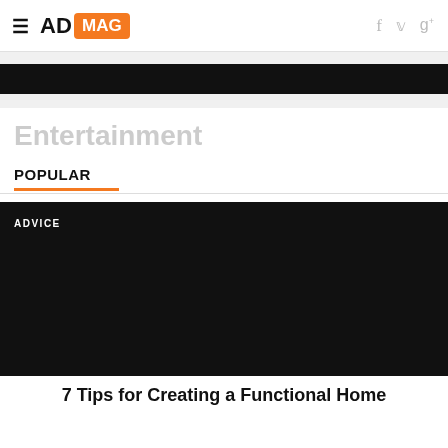AD MAG
[Figure (other): Black banner image below navigation]
Entertainment
POPULAR
[Figure (photo): Large black article thumbnail image with ADVICE label]
7 Tips for Creating a Functional Home